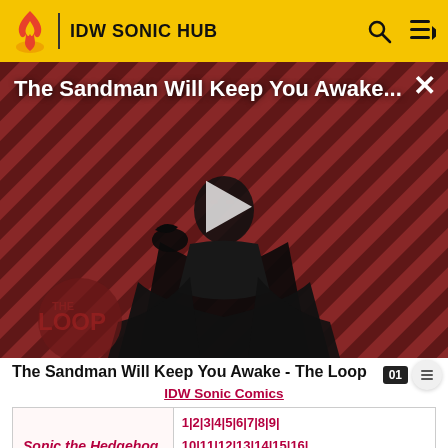IDW SONIC HUB
[Figure (screenshot): Video thumbnail showing a dark-clothed figure holding a raven against a diagonal red and black striped background, with 'The Loop' watermark at bottom left and a play button in the center.]
The Sandman Will Keep You Awake...
The Sandman Will Keep You Awake - The Loop
IDW Sonic Comics
| Sonic the Hedgehog | 1 | 2 | 3 | 4 | 5 | 6 | 7 | 8 | 9 | 10 | 11 | 12 | 13 | 14 | 15 | 16 | 17 | 18 | 19 | 20 | 21 | 22 | 23 | |